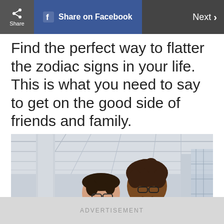Share | Share on Facebook | Next >
Find the perfect way to flatter the zodiac signs in your life. This is what you need to say to get on the good side of friends and family.
[Figure (photo): Two women smiling and talking to each other outdoors near a modern building with columns and glass facade. One woman has short dark hair and glasses, wearing a black vest; the other has curly hair and glasses, wearing a chevron-patterned sleeveless top.]
ADVERTISEMENT